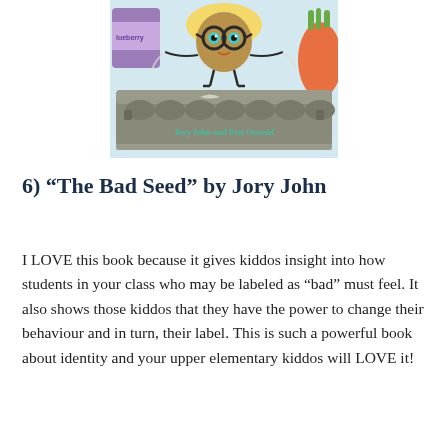[Figure (illustration): Book cover illustration for 'The Bad Seed' by Jory John and Pete Oswald. Shows a cartoon sunflower seed character with round glasses standing on an egg carton. The egg carton has the authors' names written on it: 'Jory John and Pete Oswald'. Background shows grocery store items including blueberry packaging and what appears to be a carrot.]
6) “The Bad Seed” by Jory John
I LOVE this book because it gives kiddos insight into how students in your class who may be labeled as “bad” must feel. It also shows those kiddos that they have the power to change their behaviour and in turn, their label. This is such a powerful book about identity and your upper elementary kiddos will LOVE it!